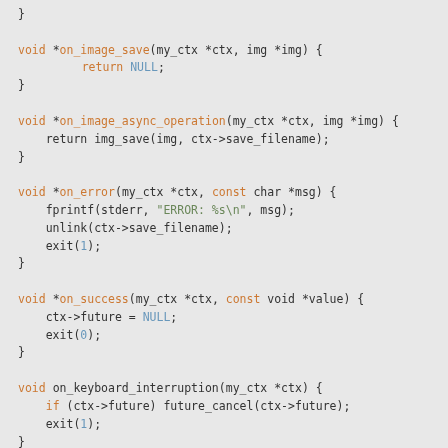C code snippet showing callback function implementations: on_image_save, on_image_async_operation, on_error, on_success, on_keyboard_interruption